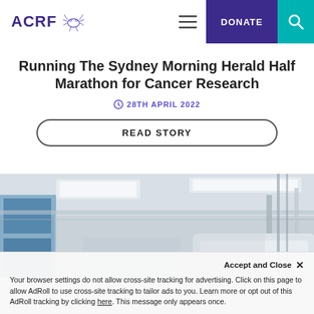ACRF
Running The Sydney Morning Herald Half Marathon for Cancer Research
28TH APRIL 2022
READ STORY
[Figure (photo): Interior of a medical/scientific laboratory showing equipment, ceiling lights, and lab machinery]
Accept and Close ×
Your browser settings do not allow cross-site tracking for advertising. Click on this page to allow AdRoll to use cross-site tracking to tailor ads to you. Learn more or opt out of this AdRoll tracking by clicking here. This message only appears once.